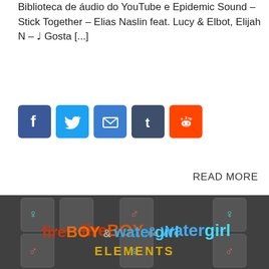Biblioteca de áudio do YouTube e Epidemic Sound – Stick Together – Elias Naslin feat. Lucy & Elbot, Elijah N – ♩ Gosta [...]
[Figure (infographic): Row of 5 social media share buttons: Facebook (blue), Twitter (blue), Email (blue), Tumblr (dark grey), Reddit (orange)]
READ MORE
[Figure (screenshot): Fireboy & Watergirl Elements game logo and title screen with keyboard keys in the background]